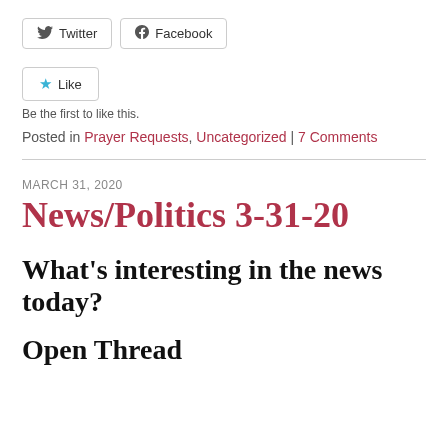[Figure (other): Twitter and Facebook share buttons]
[Figure (other): Like button]
Be the first to like this.
Posted in Prayer Requests, Uncategorized | 7 Comments
MARCH 31, 2020
News/Politics 3-31-20
What's interesting in the news today?
Open Thread